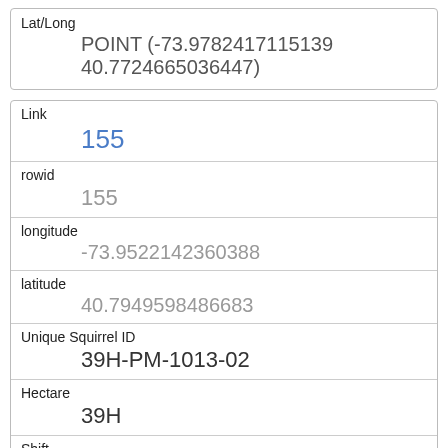| Field | Value |
| --- | --- |
| Lat/Long | POINT (-73.9782417115139 40.7724665036447) |
| Field | Value |
| --- | --- |
| Link | 155 |
| rowid | 155 |
| longitude | -73.9522142360388 |
| latitude | 40.7949598486683 |
| Unique Squirrel ID | 39H-PM-1013-02 |
| Hectare | 39H |
| Shift | PM |
| Date | 10132018 |
| Hectare Squirrel Number | 2 |